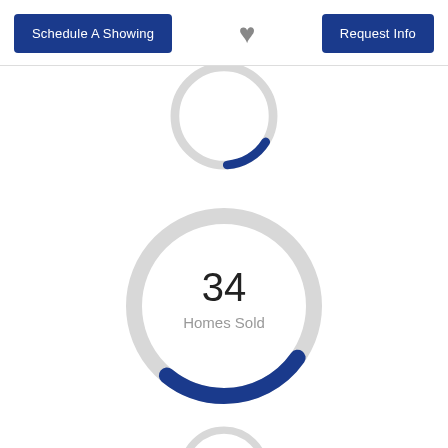[Figure (other): Schedule A Showing button on the left, heart/favorite icon in the center, Request Info button on the right — navigation header bar]
[Figure (donut-chart): Partial donut chart (top, cropped) — ring is mostly gray with a small blue arc segment at top right]
[Figure (donut-chart): Donut chart showing 34 Homes Sold. Ring is mostly gray with a blue arc spanning roughly top-right to bottom-right (about 25% of the ring). Center label: 34 / Homes Sold]
[Figure (donut-chart): Partial donut chart (bottom, cropped) — ring is mostly gray with a small blue arc segment at top right]